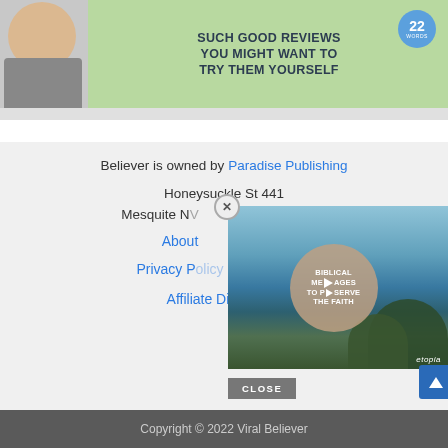[Figure (screenshot): Advertisement banner with woman and text: SUCH GOOD REVIEWS YOU MIGHT WANT TO TRY THEM YOURSELF, with a 22 words badge]
Believer is owned by Paradise Publishing
Honeysuckle St 441
Mesquite NV
About
Privacy Policy
Affiliate Disclosure
Copyright © 2022 Viral Believer
[Figure (screenshot): Video overlay popup showing a lake landscape with a circle overlay containing text: BIBLICAL MESSAGES TO PRESERVE THE FAITH with a play button, and etopia branding. Close button and X button visible.]